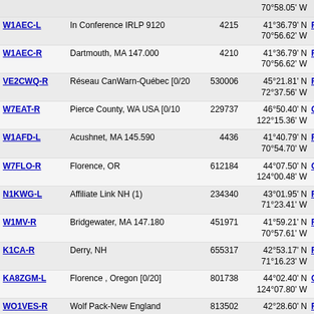| Callsign | Description | Node | Coordinates | Grid |
| --- | --- | --- | --- | --- |
|  |  |  | 70°58.05' W |  |
| W1AEC-L | In Conference IRLP 9120 | 4215 | 41°36.79' N 70°56.62' W | FN41 |
| W1AEC-R | Dartmouth, MA 147.000 | 4210 | 41°36.79' N 70°56.62' W | FN41 |
| VE2CWQ-R | Réseau CanWarn-Québec [0/20 | 530006 | 45°21.81' N 72°37.56' W | FN35 |
| W7EAT-R | Pierce County, WA USA [0/10 | 229737 | 46°50.40' N 122°15.36' W | CN86 |
| W1AFD-L | Acushnet, MA 145.590 | 4436 | 41°40.79' N 70°54.70' W | FN41 |
| W7FLO-R | Florence, OR | 612184 | 44°07.50' N 124°00.48' W | CN74 |
| N1KWG-L | Affiliate Link NH (1) | 234340 | 43°01.95' N 71°23.41' W | FN43 |
| W1MV-R | Bridgewater, MA 147.180 | 451971 | 41°59.21' N 70°57.61' W | FN41 |
| K1CA-R | Derry, NH | 655317 | 42°53.17' N 71°16.23' W | FN42 |
| KA8ZGM-L | Florence , Oregon [0/20] | 801738 | 44°02.40' N 124°07.80' W | CN74 |
| WO1VES-R | Wolf Pack-New England | 813502 | 42°28.60' N 71°05.57' W | FN42 |